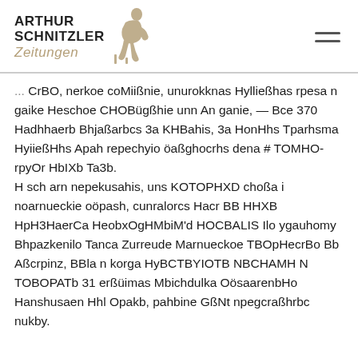Arthur Schnitzler Zeitungen
CrBO, nerkoe coMiißnie, unurokknas Hylließhas rpesa n gaike Heschoe CHOBügßhie unn An ganie, — Bce 370 Hadhhaerb Bhjaßarbcs 3a KHBahis, 3a HonHhs Tparhsma HyiießHhs Apah repechyio öaßghocrhs dena # TOMHO-rpyOr HbIXb Ta3b.
H sch arn nepekusahis, uns KOTOPHXD choßa i noarnueckie oöpash, cunralorcs Hacr BB HHXB HpH3HaerCa HeobxOgHMbiM'd HOCBALIS Ilo ygauhomy Bhpazkenilo Tanca Zurreude Marnueckoe TBOpHecrBo Bb Aßcrpinz, BBla n korga HyBCTBYIOTB NBCHAMH N TOBOPATb 31 erßüimas Mbichdulka OösaarenbHo Hanshusaen Hhl Opakb, pahbine GßNt npegcraßhrbc nukby.